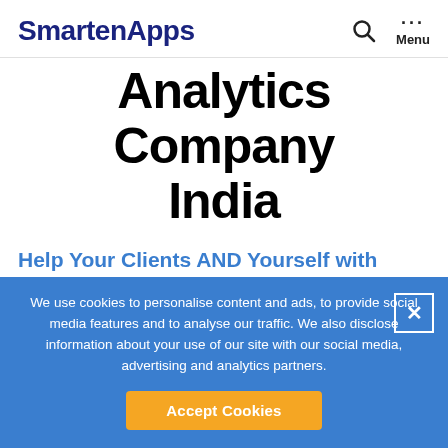SmartenApps
Analytics Company India
Help Your Clients AND Yourself with Analytics for Tally ERP!
If You Work with Numbers, You Need Analytics!
We use cookies to personalise content and ads, to provide social media features and to analyse our traffic. We also disclose information about your use of our site with our social media, advertising and analytics partners.
Accept Cookies